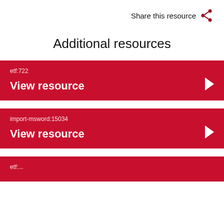Share this resource
Additional resources
etf:722
View resource
import-msword:15034
View resource
View resource (partial)